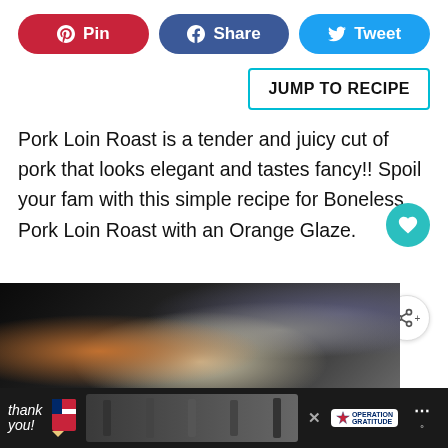[Figure (infographic): Social sharing buttons: Pin (red/Pinterest), Share (blue/Facebook), Tweet (light blue/Twitter)]
[Figure (infographic): Jump to Recipe button with cyan border]
Pork Loin Roast is a tender and juicy cut of pork that looks elegant and tastes fancy!! Spoil your fam with this simple recipe for Boneless Pork Loin Roast with an Orange Glaze.
[Figure (photo): Partial photo of a pork loin roast in a dark pan]
[Figure (infographic): Advertisement bar at bottom: Thank you message with Operation Gratitude ad featuring firefighters]